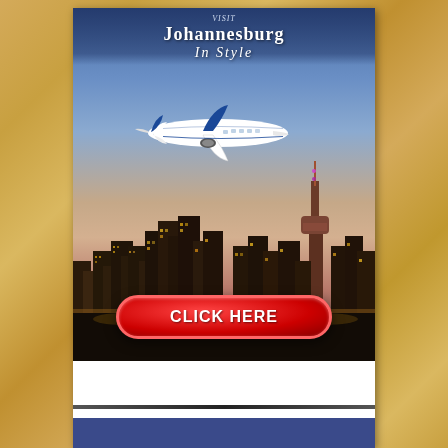[Figure (illustration): Advertisement banner for Johannesburg travel. Shows a city skyline at dusk with a tall communications tower (similar to Hillbrow Tower), an airplane flying overhead, and a gradient sky from blue to orange-pink. A red 'CLICK HERE' button is overlaid at the bottom of the image. The text 'Johannesburg In Style' appears at the top of the banner.]